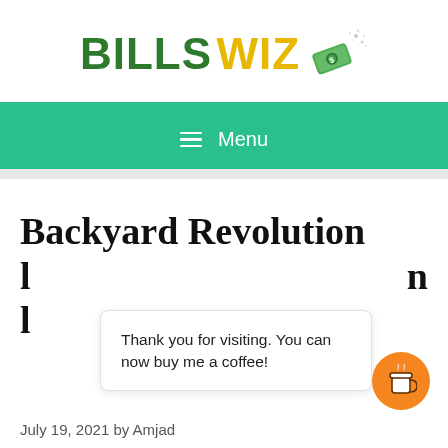[Figure (logo): Bills Wiz logo with green 'BILLS' text, yellow 'WIZ' text, and a money/cash emoji icon with sparkles]
≡ Menu
Backyard Revolution
Thank you for visiting. You can now buy me a coffee!
July 19, 2021 by Amjad